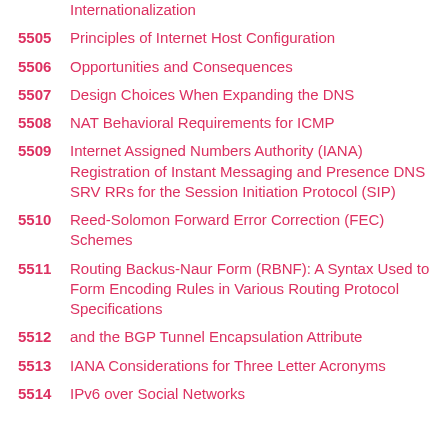Internationalization
5505 Principles of Internet Host Configuration
5506 Opportunities and Consequences
5507 Design Choices When Expanding the DNS
5508 NAT Behavioral Requirements for ICMP
5509 Internet Assigned Numbers Authority (IANA) Registration of Instant Messaging and Presence DNS SRV RRs for the Session Initiation Protocol (SIP)
5510 Reed-Solomon Forward Error Correction (FEC) Schemes
5511 Routing Backus-Naur Form (RBNF): A Syntax Used to Form Encoding Rules in Various Routing Protocol Specifications
5512 and the BGP Tunnel Encapsulation Attribute
5513 IANA Considerations for Three Letter Acronyms
5514 IPv6 over Social Networks